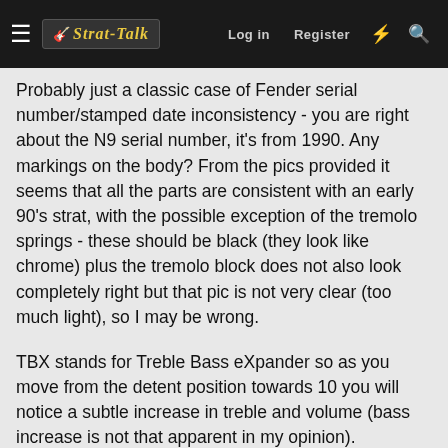Strat-Talk — Log in | Register
Probably just a classic case of Fender serial number/stamped date inconsistency - you are right about the N9 serial number, it's from 1990. Any markings on the body? From the pics provided it seems that all the parts are consistent with an early 90's strat, with the possible exception of the tremolo springs - these should be black (they look like chrome) plus the tremolo block does not also look completely right but that pic is not very clear (too much light), so I may be wrong.
TBX stands for Treble Bass eXpander so as you move from the detent position towards 10 you will notice a subtle increase in treble and volume (bass increase is not that apparent in my opinion).